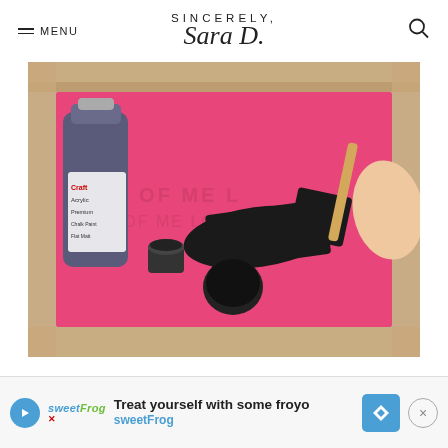SINCERELY, Sara D.
[Figure (photo): A hand holds a foam brush applying black paint over a pink stencil that reads partial text. A bottle of dark paint and a small paint cup sit nearby on a wooden frame surface.]
I also painted around the inside of the pl... w...
[Figure (infographic): Advertisement banner for sweetFrog frozen yogurt: 'Treat yourself with some froyo sweetFrog' with blue diamond arrow icon and close button.]